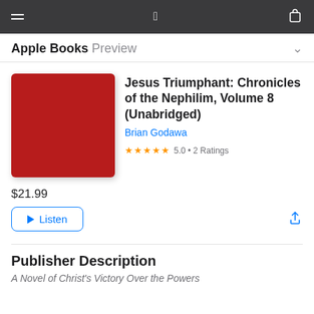Apple Books Preview
[Figure (illustration): Red book cover for Jesus Triumphant: Chronicles of the Nephilim, Volume 8 (Unabridged)]
Jesus Triumphant: Chronicles of the Nephilim, Volume 8 (Unabridged)
Brian Godawa
★★★★★ 5.0 • 2 Ratings
$21.99
▶ Listen
Publisher Description
A Novel of Christ's Victory Over the Powers